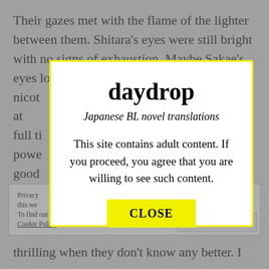Their gazes met with the flame of the lighter between them. Shitara's eyes were still bright with no signs of exhaustion. Maybe Sakae's eyes looked the same to Shitara too. The nicot... at full ti... powe... ery good... d exha... Shita...
Privacy... o use this we... To find out more, including how to control cookies, see here: Cookie Policy
Close and accept
daydrop
Japanese BL novel translations
This site contains adult content. If you proceed, you agree that you are willing to see such content.
CLOSE
thrilling when they don't know any better. I